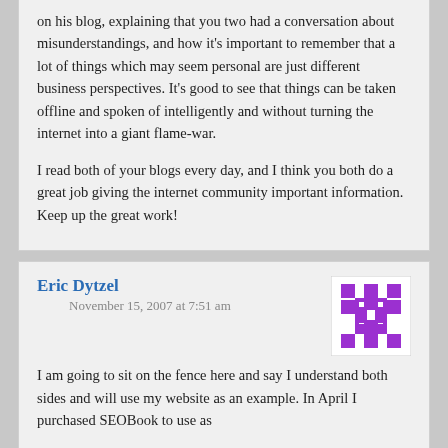on his blog, explaining that you two had a conversation about misunderstandings, and how it's important to remember that a lot of things which may seem personal are just different business perspectives. It's good to see that things can be taken offline and spoken of intelligently and without turning the internet into a giant flame-war.

I read both of your blogs every day, and I think you both do a great job giving the internet community important information. Keep up the great work!
Eric Dytzel
November 15, 2007 at 7:51 am
[Figure (other): Purple pixel avatar/identicon with cross/snowflake pattern on white background]
I am going to sit on the fence here and say I understand both sides and will use my website as an example. In April I purchased SEOBook to use as